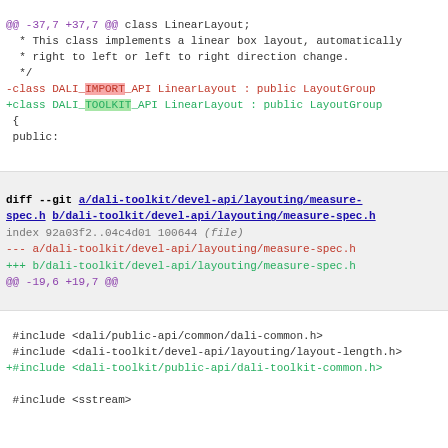@@ -37,7 +37,7 @@ class LinearLayout;
 * This class implements a linear box layout, automatically
 * right to left or left to right direction change.
 */
-class DALI_IMPORT_API LinearLayout : public LayoutGroup
+class DALI_TOOLKIT_API LinearLayout : public LayoutGroup
 {
 public:
diff --git a/dali-toolkit/devel-api/layouting/measure-spec.h b/dali-toolkit/devel-api/layouting/measure-spec.h
index 92a03f2..04c4d01 100644 (file)
--- a/dali-toolkit/devel-api/layouting/measure-spec.h
+++ b/dali-toolkit/devel-api/layouting/measure-spec.h
@@ -19,6 +19,7 @@
 #include <dali/public-api/common/dali-common.h>
 #include <dali-toolkit/devel-api/layouting/layout-length.h>
+#include <dali-toolkit/public-api/dali-toolkit-common.h>
 #include <sstream>
@@ -32,7 +33,7 @@ namespace Toolkit
 * how to be measured. For instance, it may measure a child
 * height in order to determine height for width.
 */
-class DALI_IMPORT_API MeasureSpec
+class DALI_TOOLKIT_API MeasureSpec
 {
 public:
   using IntType = LayoutLength::IntType;